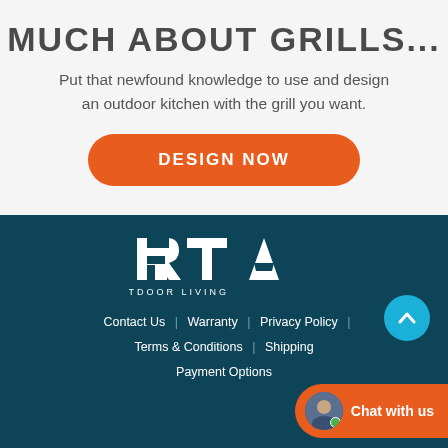MUCH ABOUT GRILLS...
Put that newfound knowledge to use and design an outdoor kitchen with the grill you want.
DESIGN NOW
[Figure (logo): RTA Outdoor Living logo in white on dark teal background]
Contact Us | Warranty | Privacy Policy | Terms & Conditions | Shipping | Payment Options
Chat with us